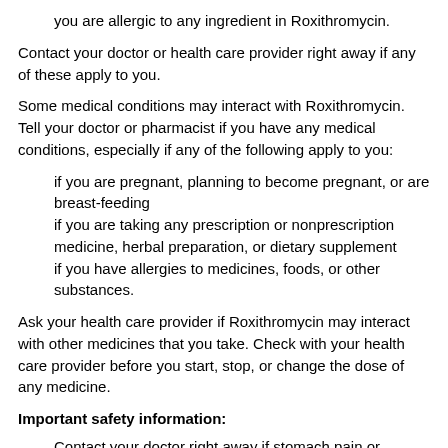you are allergic to any ingredient in Roxithromycin.
Contact your doctor or health care provider right away if any of these apply to you.
Some medical conditions may interact with Roxithromycin. Tell your doctor or pharmacist if you have any medical conditions, especially if any of the following apply to you:
if you are pregnant, planning to become pregnant, or are breast-feeding
if you are taking any prescription or nonprescription medicine, herbal preparation, or dietary supplement
if you have allergies to medicines, foods, or other substances.
Ask your health care provider if Roxithromycin may interact with other medicines that you take. Check with your health care provider before you start, stop, or change the dose of any medicine.
Important safety information:
Contact your doctor right away if stomach pain or cramps, severe diarrhea, or bloody stools occur. Do not treat diarrhea without first checking with your doctor.
Be sure to use Roxithromycin for the full course of treatment. If you do not, the medicine may not clear up your infection completely. The bacteria could also become less sensitive to this or other medicines. This could make the infection harder to treat in the future.
Roxithromycin only works against bacteria; it does not treat viral